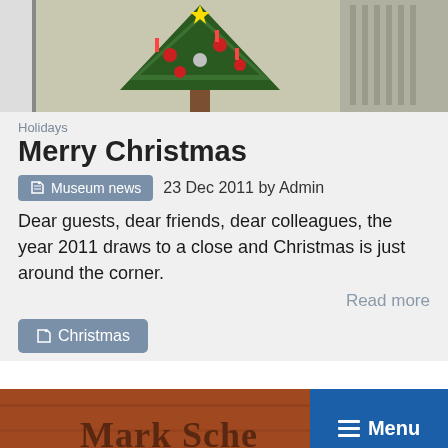[Figure (photo): Christmas tree with red ornaments and candles against a light background]
Holidays
Merry Christmas
Museum news   23 Dec 2011 by Admin
Dear guests, dear friends, dear colleagues, the year 2011 draws to a close and Christmas is just around the corner.
Read more
Christmas
[Figure (photo): Wooden sign reading Mark Sche... (partially visible), with a blue Menu button overlay]